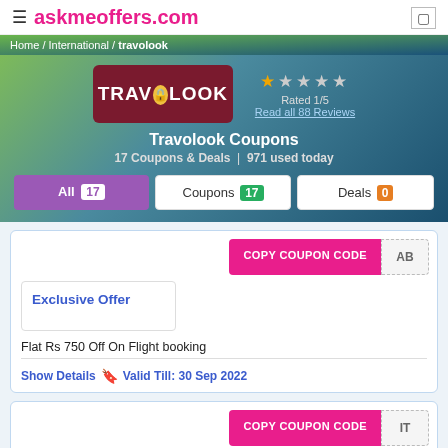askmeoffers.com
Home / International / travolook
[Figure (logo): Travolook logo: dark red background with TRAVOLOOK text and lock icon]
Rated 1/5
Read all 88 Reviews
Travolook Coupons
17 Coupons & Deals  | 971 used today
All 17
Coupons 17
Deals 0
COPY COUPON CODE
AB
Exclusive Offer
Flat Rs 750 Off On Flight booking
Show Details  🔖  Valid Till: 30 Sep 2022
COPY COUPON CODE
IT